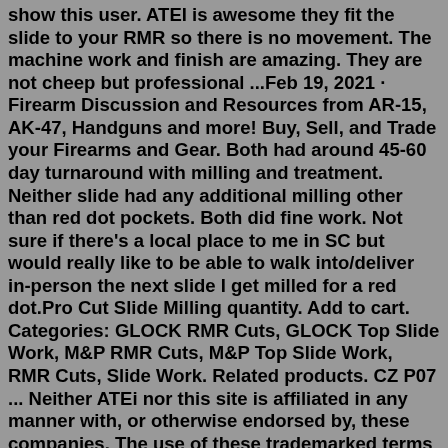show this user. ATEI is awesome they fit the slide to your RMR so there is no movement. The machine work and finish are amazing. They are not cheep but professional ...Feb 19, 2021 · Firearm Discussion and Resources from AR-15, AK-47, Handguns and more! Buy, Sell, and Trade your Firearms and Gear. Both had around 45-60 day turnaround with milling and treatment. Neither slide had any additional milling other than red dot pockets. Both did fine work. Not sure if there's a local place to me in SC but would really like to be able to walk into/deliver in-person the next slide I get milled for a red dot.Pro Cut Slide Milling quantity. Add to cart. Categories: GLOCK RMR Cuts, GLOCK Top Slide Work, M&P RMR Cuts, M&P Top Slide Work, RMR Cuts, Slide Work. Related products. CZ P07 ... Neither ATEi nor this site is affiliated in any manner with, or otherwise endorsed by, these companies. The use of these trademarked terms on this page is merely to ...The Roland Special package includes a 3.25 MOA Trijicon RMR6 RMR optic, the custom slide milling to install